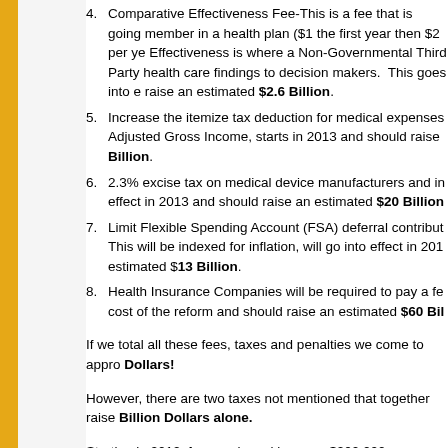4. Comparative Effectiveness Fee-This is a fee that is going... member in a health plan ($1 the first year then $2 per ye... Effectiveness is where a Non-Governmental Third Party ... health care findings to decision makers.  This goes into e... raise an estimated $2.6 Billion.
5. Increase the itemize tax deduction for medical expenses... Adjusted Gross Income, starts in 2013 and should raise ... Billion.
6. 2.3% excise tax on medical device manufacturers and in... effect in 2013 and should raise an estimated $20 Billion
7. Limit Flexible Spending Account (FSA) deferral contribut... This will be indexed for inflation, will go into effect in 201... estimated $13 Billion.
8. Health Insurance Companies will be required to pay a fe... cost of the reform and should raise an estimated $60 Bil
If we total all these fees, taxes and penalties we come to appro... Dollars!
However, there are two taxes not mentioned that together raise... Billion Dollars alone.
Starting in 2012, for people making over $200,000 Individually ...